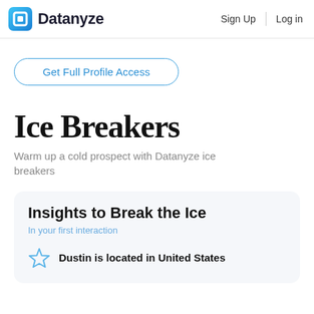Datanyze | Sign Up | Log in
Get Full Profile Access
Ice Breakers
Warm up a cold prospect with Datanyze ice breakers
Insights to Break the Ice
In your first interaction
Dustin is located in United States